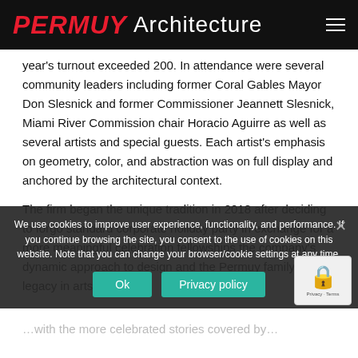PERMUY Architecture
year's turnout exceeded 200. In attendance were several community leaders including former Coral Gables Mayor Don Slesnick and former Commissioner Jeannett Slesnick, Miami River Commission chair Horacio Aguirre as well as several artists and special guests. Each artist's emphasis on geometry, color, and abstraction was on full display and anchored by the architectural context.
The firm began the unique tradition in 2018 after deciding to forgo standard corporate holiday party in exchange for a more meaningful celebration fellowships the company's dynamic approach to design and the Permuy family's legacy in arts.
We use cookies to improve user experience, functionality, and performance. If you continue browsing the site, you consent to the use of cookies on this website. Note that you can change your browser/cookie settings at any time.